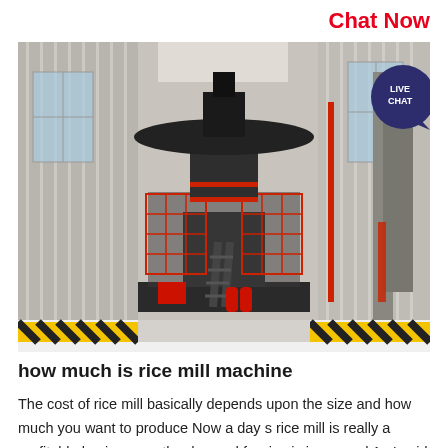Chat Now
[Figure (photo): Large industrial rice mill machine in a factory/warehouse setting. The machine is a tall cylindrical dark grey structure with a wide disc-shaped top, surrounded by red metal scaffolding, staircases, and rails. The background shows a large industrial building interior with high windows and ceiling. Yellow and black safety striped barriers are visible at the base.]
how much is rice mill machine
The cost of rice mill basically depends upon the size and how much you want to produce Now a day s rice mill is really a profitable business as the demand for rice is increased As I said earlier that the cost of rice mill